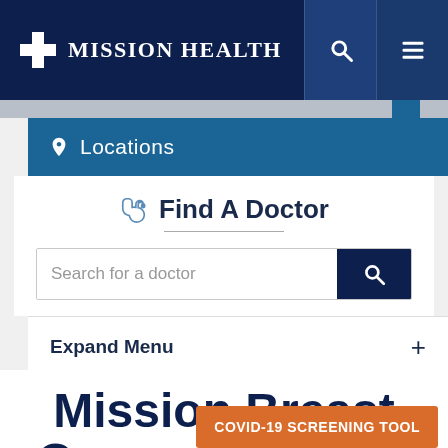Mission Health
Locations
Find A Doctor
Search for a doctor
Expand Menu
Mission Breast Cancer Program
COVID-19 SCREENING TOOL